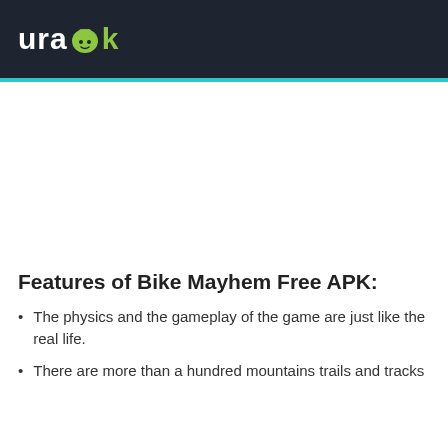urapk
Features of Bike Mayhem Free APK:
The physics and the gameplay of the game are just like the real life.
There are more than a hundred mountains trails and tracks